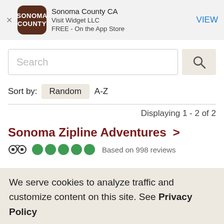[Figure (screenshot): App Store banner for Sonoma County CA app by Visit Widget LLC, free on the App Store, with a VIEW button]
Search
Sort by: Random  A-Z
Displaying 1 - 2 of 2
Sonoma Zipline Adventures >
Based on 998 reviews
We serve cookies to analyze traffic and customize content on this site. See Privacy Policy